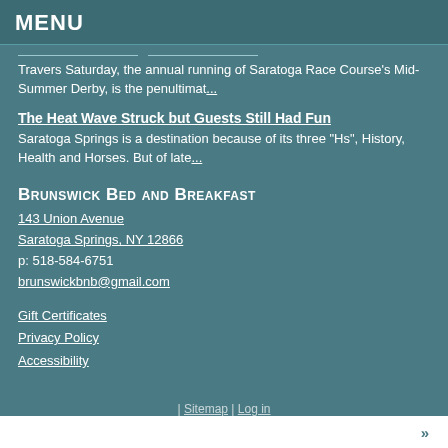MENU
Travers Saturday, the annual running of Saratoga Race Course's Mid-Summer Derby, is the penultimat...
The Heat Wave Struck but Guests Still Had Fun
Saratoga Springs is a destination because of its three "Hs", History, Health and Horses. But of late...
Brunswick Bed and Breakfast
143 Union Avenue
Saratoga Springs, NY 12866
p: 518-584-6751
brunswickbnb@gmail.com
Gift Certificates
Privacy Policy
Accessibility
| Sitemap | Log in
»